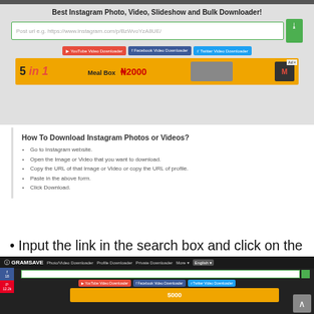[Figure (screenshot): Screenshot of GramSave Instagram downloader website showing search bar with placeholder 'Post url e.g. https://www.instagram.com/p/BzWvoYzA8UE/', a green download button, three colored buttons for YouTube Video Downloader, Facebook Video Downloader, Twitter Video Downloader, and an orange '5 in 1' advertisement banner]
How To Download Instagram Photos or Videos?
Go to Instagram website.
Open the Image or Video that you want to download.
Copy the URL of that Image or Video or copy the URL of profile.
Paste in the above form.
Click Download.
• Input the link in the search box and click on the icon beside it. A download icon will appear underneath your video.
[Figure (screenshot): Screenshot of GramSave website with dark navigation bar showing logo, menu links (Photo/Video Downloader, Profile Downloader, Private Downloader, More, English), search input, colored video downloader buttons, orange advertisement banner, social sharing buttons (Facebook, Pinterest) on left side, and back-to-top button]